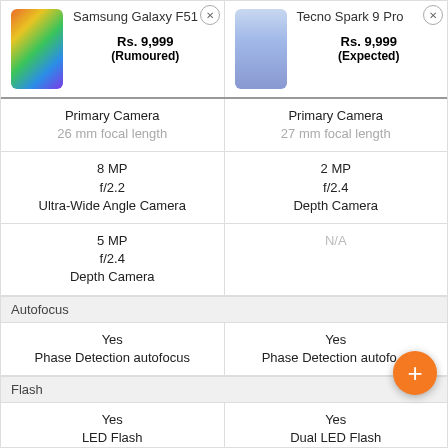| Samsung Galaxy F51 | Tecno Spark 9 Pro |
| --- | --- |
| Rs. 9,999 (Rumoured) | Rs. 9,999 (Expected) |
| Primary Camera
26 mm focal length | Primary Camera
27 mm focal length |
| 8 MP
f/2.2
Ultra-Wide Angle Camera | 2 MP
f/2.4
Depth Camera |
| 5 MP
f/2.4
Depth Camera | N/A |
| Autofocus |  |
| Yes
Phase Detection autofocus | Yes
Phase Detection autofocus |
| Flash |  |
| Yes
LED Flash | Yes
Dual LED Flash |